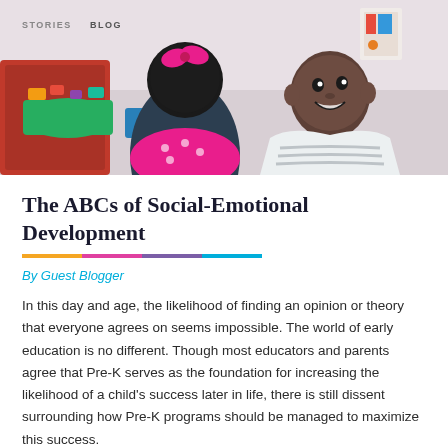[Figure (photo): Two young children in a classroom setting facing each other and smiling; colorful toys and supplies visible in background. 'STORIES' and 'BLOG' labels overlay the top-left of the image.]
The ABCs of Social-Emotional Development
By Guest Blogger
In this day and age, the likelihood of finding an opinion or theory that everyone agrees on seems impossible. The world of early education is no different. Though most educators and parents agree that Pre-K serves as the foundation for increasing the likelihood of a child's success later in life, there is still dissent surrounding how Pre-K programs should be managed to maximize this success.
READ MORE →